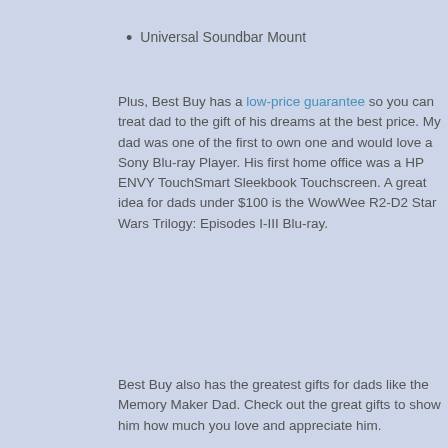Universal Soundbar Mount
Plus, Best Buy has a low-price guarantee so you can treat dad to the gift of his dreams at the best price. My dad was one of the first to own one and would love a Sony Blu-ray Player. His first home office was a HP ENVY TouchSmart Sleekbook Touchscreen. A great idea for dads under $100 is the WowWee R2-D2 Star Wars Trilogy: Episodes I-III Blu-ray.
Best Buy also has the greatest gifts for dads like the Memory Maker Dad. Check out these great gifts to show him how much you love and appreciate him.
[Figure (photo): A green gift box or packaging with the letters 'TH' visible, on a light beige/cream background, partially cut off at the right edge.]